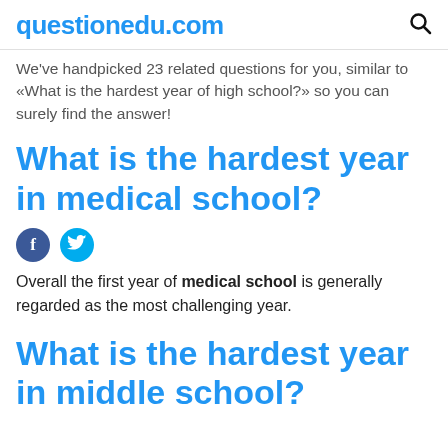questionedu.com
We've handpicked 23 related questions for you, similar to «What is the hardest year of high school?» so you can surely find the answer!
What is the hardest year in medical school?
[Figure (other): Facebook and Twitter social share icons]
Overall the first year of medical school is generally regarded as the most challenging year.
What is the hardest year in middle school?